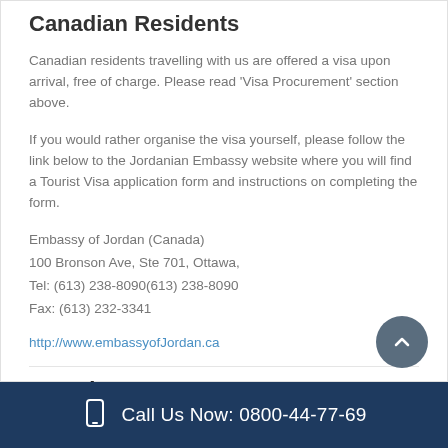Canadian Residents
Canadian residents travelling with us are offered a visa upon arrival, free of charge. Please read 'Visa Procurement' section above.
If you would rather organise the visa yourself, please follow the link below to the Jordanian Embassy website where you will find a Tourist Visa application form and instructions on completing the form.
Embassy of Jordan (Canada)
100 Bronson Ave, Ste 701, Ottawa,
Tel: (613) 238-8090(613) 238-8090
Fax: (613) 232-3341
http://www.embassyofJordan.ca
See Also
Call Us Now: 0800-44-77-69